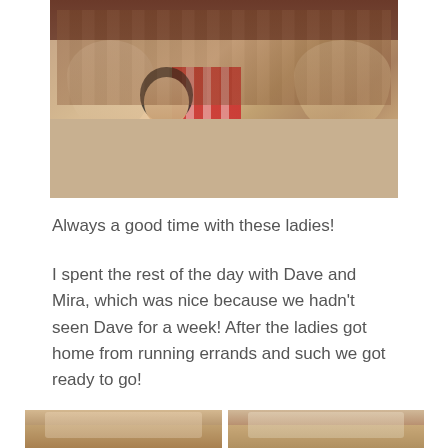[Figure (photo): Three women and a baby sitting at a restaurant table. The women are smiling at the camera. One woman on the left wears a denim jacket, the woman in the center wears a red and white striped top and holds a baby wearing a black hat, and the woman on the right wears a denim jacket. The background shows exposed brick walls. The table has water glasses and condiments.]
Always a good time with these ladies!
I spent the rest of the day with Dave and Mira, which was nice because we hadn't seen Dave for a week! After the ladies got home from running errands and such we got ready to go!
[Figure (photo): Two photos side by side showing groups of women posing together indoors.]